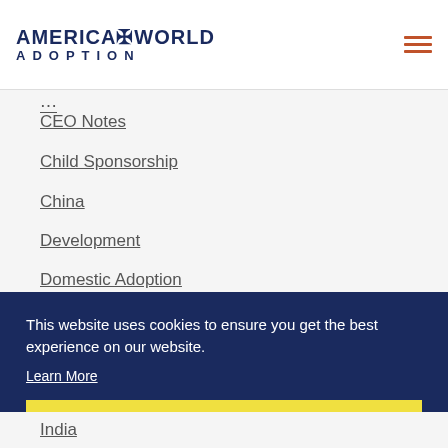America World Adoption
CEO Notes
Child Sponsorship
China
Development
Domestic Adoption
Down Syndrome
This website uses cookies to ensure you get the best experience on our website.
Learn More
Got it!
India